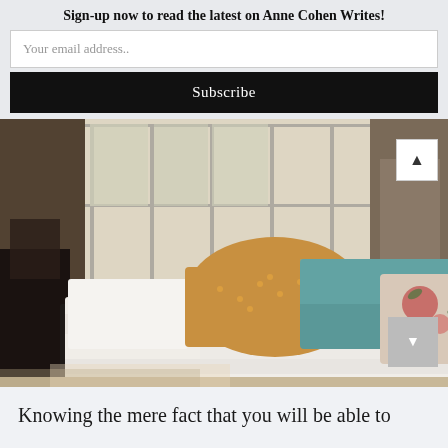Sign-up now to read the latest on Anne Cohen Writes!
Your email address..
Subscribe
[Figure (photo): Bedroom with low black platform bed, white duvet, colorful decorative pillows (gold, teal, floral), against an industrial brick wall with large windows and natural light.]
Knowing the mere fact that you will be able to